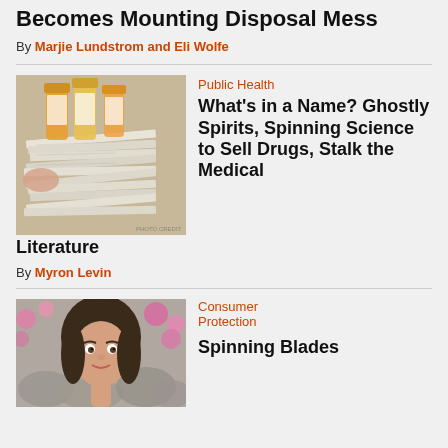Becomes Mounting Disposal Mess
By Marjie Lundstrom and Eli Wolfe
Public Health
What's in a Name? Ghostly Spirits, Spinning Science to Sell Drugs, Stalk the Medical Literature
[Figure (photo): Pile of prescription medicine bottles and stacked papers/documents]
By Myron Levin
Consumer Protection
Spinning Blades
[Figure (photo): Portrait of a woman with flowers in the background]